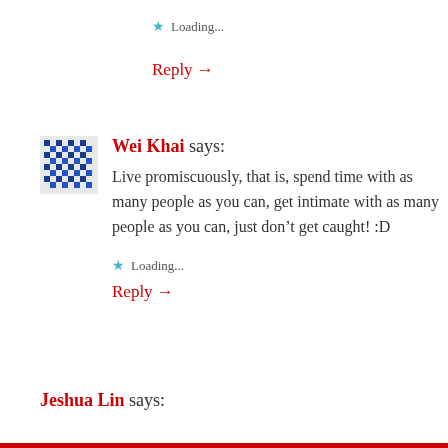★ Loading...
Reply →
Wei Khai says:
Live promiscuously, that is, spend time with as many people as you can, get intimate with as many people as you can, just don't get caught! :D
★ Loading...
Reply →
Jeshua Lin says: